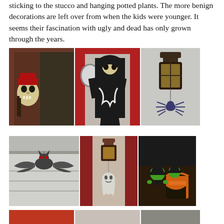sticking to the stucco and hanging potted plants. The more benign decorations are left over from when the kids were younger. It seems their fascination with ugly and dead has only grown through the years.
[Figure (photo): Three Halloween decoration photos in a row: left shows a skull with pirate hat on a dark door, center shows a grim reaper figure in black robes standing by a red door, right shows a wall lantern with a hanging plastic spider decoration.]
[Figure (photo): Three Halloween decoration photos in a row: left shows a plastic bat hanging from eaves, center shows a small ghost/spirit figure hanging below a wall lantern on a dark red door frame, right shows green witch stuffed toy figures with orange and black accessories.]
[Figure (photo): Partial third row of Halloween decoration photos, cropped at bottom of page.]